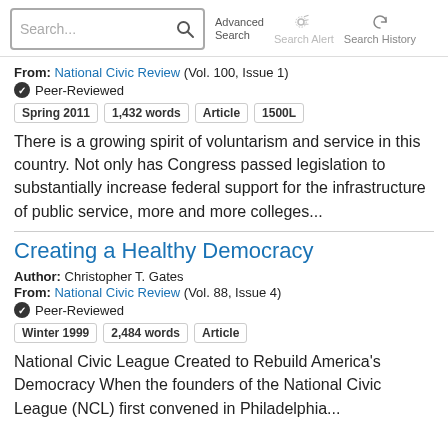Search... Advanced Search Search Alert Search History
From: National Civic Review (Vol. 100, Issue 1)
✔ Peer-Reviewed
Spring 2011  1,432 words  Article  1500L
There is a growing spirit of voluntarism and service in this country. Not only has Congress passed legislation to substantially increase federal support for the infrastructure of public service, more and more colleges...
Creating a Healthy Democracy
Author: Christopher T. Gates
From: National Civic Review (Vol. 88, Issue 4)
✔ Peer-Reviewed
Winter 1999  2,484 words  Article
National Civic League Created to Rebuild America's Democracy When the founders of the National Civic League (NCL) first convened in Philadelphia...